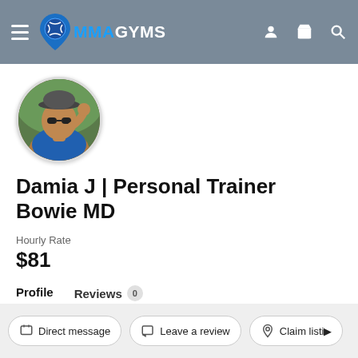MMAGYMS — navigation header with hamburger menu, logo, user icon, basket icon, search icon
[Figure (photo): Circular profile photo of Damia J, a personal trainer, outdoors with a cap and blue top]
Damia J | Personal Trainer Bowie MD
Hourly Rate
$81
Profile   Reviews 0
Direct message   Leave a review   Claim listing